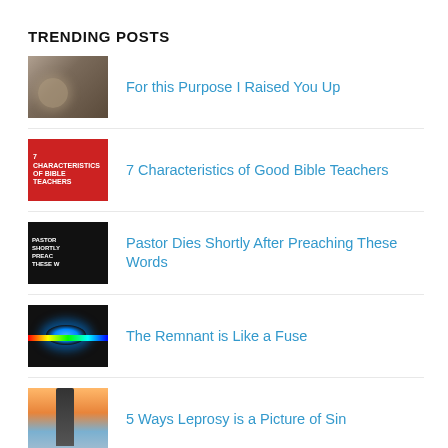TRENDING POSTS
For this Purpose I Raised You Up
7 Characteristics of Good Bible Teachers
Pastor Dies Shortly After Preaching These Words
The Remnant is Like a Fuse
5 Ways Leprosy is a Picture of Sin
My Biggest Struggle with Daily Devotions